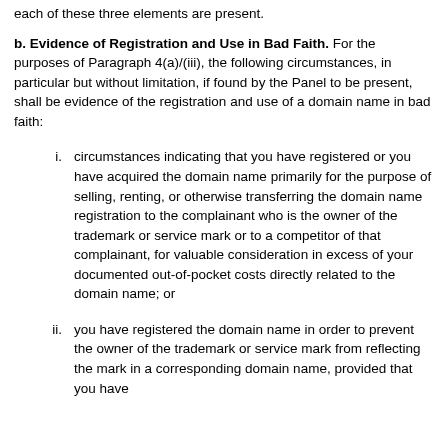each of these three elements are present.
b. Evidence of Registration and Use in Bad Faith. For the purposes of Paragraph 4(a)/(iii), the following circumstances, in particular but without limitation, if found by the Panel to be present, shall be evidence of the registration and use of a domain name in bad faith:
i. circumstances indicating that you have registered or you have acquired the domain name primarily for the purpose of selling, renting, or otherwise transferring the domain name registration to the complainant who is the owner of the trademark or service mark or to a competitor of that complainant, for valuable consideration in excess of your documented out-of-pocket costs directly related to the domain name; or
ii. you have registered the domain name in order to prevent the owner of the trademark or service mark from reflecting the mark in a corresponding domain name, provided that you have